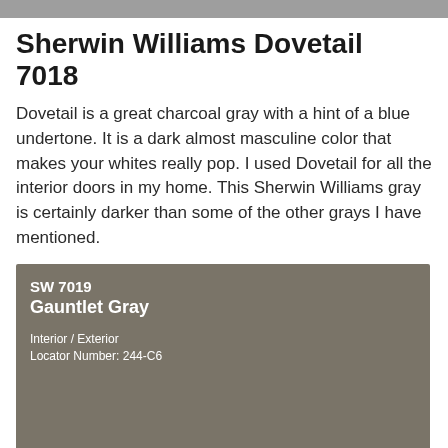Sherwin Williams Dovetail 7018
Dovetail is a great charcoal gray with a hint of a blue undertone. It is a dark almost masculine color that makes your whites really pop. I used Dovetail for all the interior doors in my home. This Sherwin Williams gray is certainly darker than some of the other grays I have mentioned.
[Figure (infographic): Sherwin Williams paint chip card for SW 7019 Gauntlet Gray. Shows color name, SW number, Interior/Exterior usage, Locator Number 244-C6, large color swatch area in a medium gray-brown (taupe gray) tone, and a row of color swatches at the bottom numbered 244 ranging from dark to light gray.]